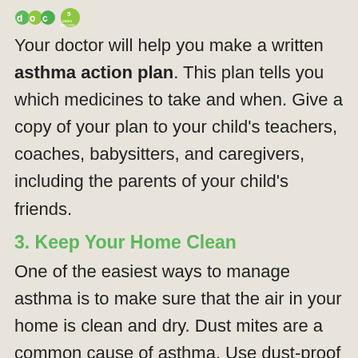[Figure (logo): Organization logos: green 'doc' letters logo and a '5 years 1997-2002' anniversary badge]
Your doctor will help you make a written asthma action plan. This plan tells you which medicines to take and when. Give a copy of your plan to your child's teachers, coaches, babysitters, and caregivers, including the parents of your child's friends.
3. Keep Your Home Clean
One of the easiest ways to manage asthma is to make sure that the air in your home is clean and dry. Dust mites are a common cause of asthma. Use dust-proof covers for pillows, mattresses, and box springs.